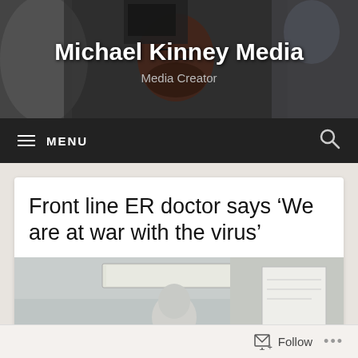[Figure (photo): Header photo showing media personnel and a man being surrounded by cameras, crowd scene]
Michael Kinney Media
Media Creator
≡ MENU
Front line ER doctor says ‘We are at war with the virus’
[Figure (photo): Interior of an emergency room or hospital, ceiling with fluorescent lights, a person in protective gear visible, whiteboard on wall]
Follow